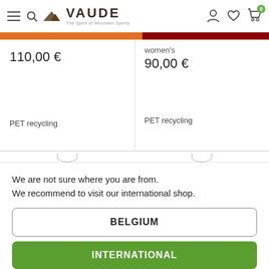VAUDE - The Spirit of Mountain Sports
women's
110,00 €
90,00 €
PET recycling
PET recycling
We are not sure where you are from.
We recommend to visit our international shop.
BELGIUM
INTERNATIONAL